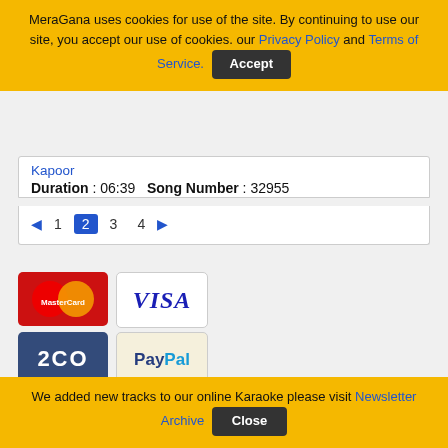MeraGana uses cookies for use of the site. By continuing to use our site, you accept our use of cookies. our Privacy Policy and Terms of Service. Accept
Kapoor
Duration : 06:39  Song Number : 32955
1 2 3 4
[Figure (logo): MasterCard logo - red and orange overlapping circles]
[Figure (logo): VISA logo - blue italic text on white background]
[Figure (logo): 2CO logo - white text on dark blue background]
[Figure (logo): PayPal logo - blue and light blue text on cream background]
Terms of Service | Privacy Policy| Newsletter Archive
If you believe that any material held in by us infringes your copyright please follow the guidance in our Notice and Take Down policy.
We added new tracks to our online Karaoke please visit Newsletter Archive  Close